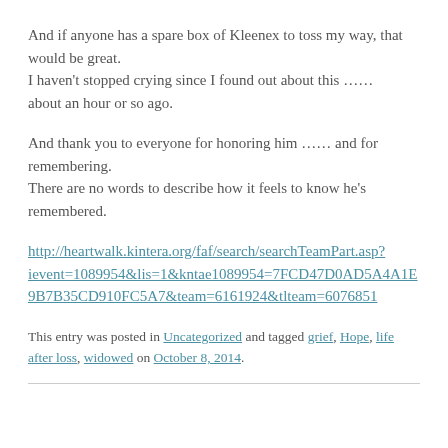And if anyone has a spare box of Kleenex to toss my way, that would be great.
I haven't stopped crying since I found out about this …… about an hour or so ago.
And thank you to everyone for honoring him …… and for remembering.
There are no words to describe how it feels to know he's remembered.
http://heartwalk.kintera.org/faf/search/searchTeamPart.asp?ievent=1089954&lis=1&kntae1089954=7FCD47D0AD5A4A1E9B7B35CD910FC5A7&team=6161924&tlteam=6076851
This entry was posted in Uncategorized and tagged grief, Hope, life after loss, widowed on October 8, 2014.